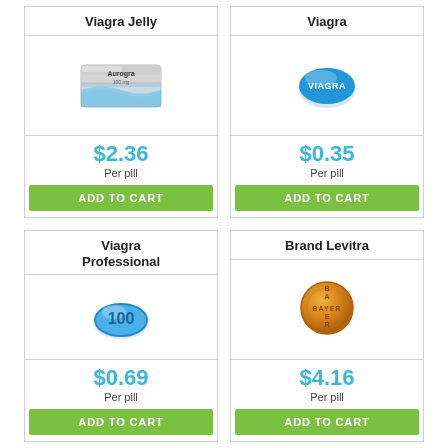Viagra Jelly
[Figure (photo): Aurogra / Viagra Jelly tablet package, silver foil blister pack with blue wave design]
$2.36
Per pill
ADD TO CART
Viagra
[Figure (photo): Blue oval Viagra pill with VIAGRA text embossed]
$0.35
Per pill
ADD TO CART
Viagra Professional
[Figure (photo): Blue oval Viagra Professional 100 pill]
$0.69
Per pill
ADD TO CART
Brand Levitra
[Figure (photo): Gold/orange round Bayer Levitra pill with BAYER text]
$4.16
Per pill
ADD TO CART